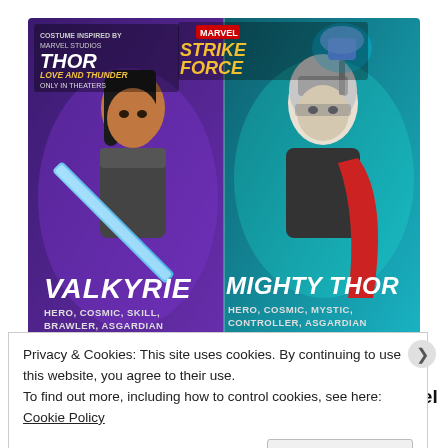[Figure (illustration): Marvel Strike Force game promotional image showing two characters: Valkyrie (left) with blue sword on purple background, and Mighty Thor (right) with glowing hammer on teal background. Both have 7 gold stars below them. Top left shows 'COSTUME INSPIRED BY MARVEL STUDIOS THOR LOVE AND THUNDER ONLY IN THEATERS' logo. Top center shows Marvel Strike Force logo. Valkyrie subtitle: HERO, COSMIC, SKILL, BRAWLER, ASGARDIAN. Mighty Thor subtitle: HERO, COSMIC, MYSTIC, CONTROLLER, ASGARDIAN.]
iPhone owners are obsessed with this Marvel
Privacy & Cookies: This site uses cookies. By continuing to use this website, you agree to their use.
To find out more, including how to control cookies, see here: Cookie Policy